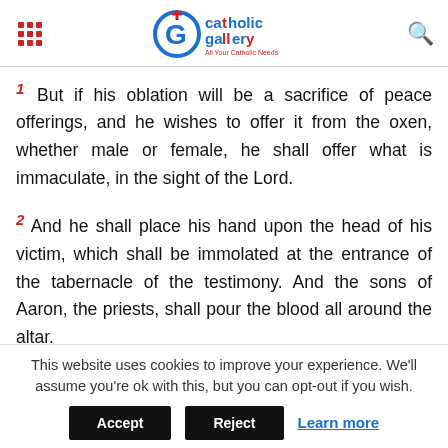Catholic Gallery - All Your Catholic Needs
1 But if his oblation will be a sacrifice of peace offerings, and he wishes to offer it from the oxen, whether male or female, he shall offer what is immaculate, in the sight of the Lord.
2 And he shall place his hand upon the head of his victim, which shall be immolated at the entrance of the tabernacle of the testimony. And the sons of Aaron, the priests, shall pour the blood all around the altar.
3 And they shall offer from the sacrifice of peace
This website uses cookies to improve your experience. We'll assume you're ok with this, but you can opt-out if you wish. Accept Reject Learn more